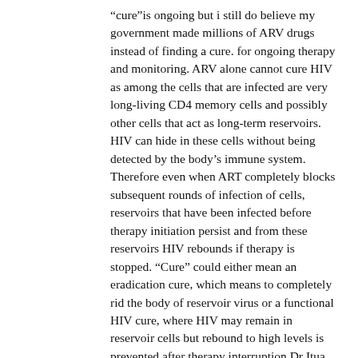“cure”is ongoing but i still do believe my government made millions of ARV drugs instead of finding a cure. for ongoing therapy and monitoring. ARV alone cannot cure HIV as among the cells that are infected are very long-living CD4 memory cells and possibly other cells that act as long-term reservoirs. HIV can hide in these cells without being detected by the body's immune system. Therefore even when ART completely blocks subsequent rounds of infection of cells, reservoirs that have been infected before therapy initiation persist and from these reservoirs HIV rebounds if therapy is stopped. “Cure” could either mean an eradication cure, which means to completely rid the body of reservoir virus or a functional HIV cure, where HIV may remain in reservoir cells but rebound to high levels is prevented after therapy interruption.Dr Itua Herbal Medicine makes me believes there is a hope for people suffering from,Parkinson’s disease,Schizophrenia,Lung Cancer,Breast Cancer,Lupus,Lymne Disease,psoriasis,Colo-Rectal Cancer,Blood Cancer,Prostate Cancer,siva.Fatal Familial Insomnia Factor V